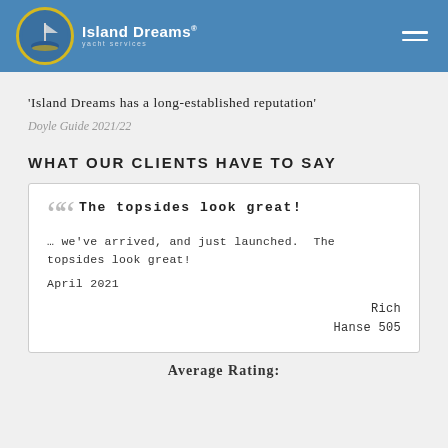Island Dreams yacht services
'Island Dreams has a long-established reputation'
Doyle Guide 2021/22
WHAT OUR CLIENTS HAVE TO SAY
The topsides look great! … we've arrived, and just launched. The topsides look great! April 2021 Rich Hanse 505
Average Rating: